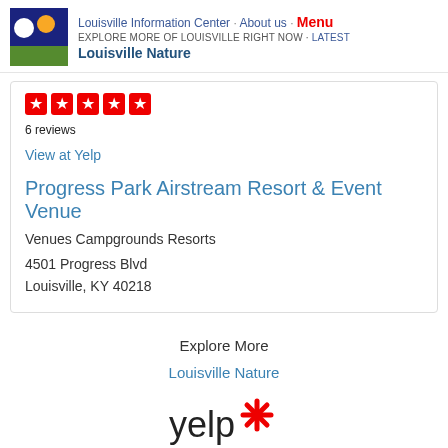Louisville Information Center · About us · Menu EXPLORE MORE OF LOUISVILLE RIGHT NOW · Latest Louisville Nature
[Figure (other): Five red star rating boxes displayed in a row]
6 reviews
View at Yelp
Progress Park Airstream Resort & Event Venue
Venues Campgrounds Resorts
4501 Progress Blvd
Louisville, KY 40218
Explore More
Louisville Nature
[Figure (logo): Yelp logo with red burst/asterisk icon]